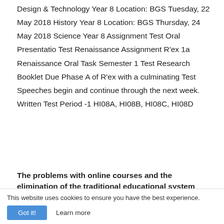Design & Technology Year 8 Location: BGS Tuesday, 22 May 2018 History Year 8 Location: BGS Thursday, 24 May 2018 Science Year 8 Assignment Test Oral Presentatio Test Renaissance Assignment R'ex 1a Renaissance Oral Task Semester 1 Test Research Booklet Due Phase A of R'ex with a culminating Test Speeches begin and continue through the next week. Written Test Period -1 HI08A, HI08B, HI08C, HI08D
The problems with online courses and the elimination of the traditional educational system
This website uses cookies to ensure you have the best experience.